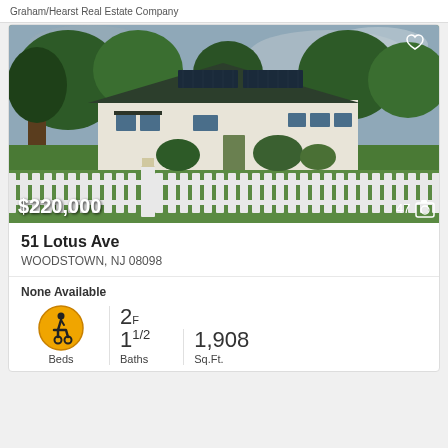Graham/Hearst Real Estate Company
[Figure (photo): Exterior photo of a single-story white ranch house with dark shutters, solar panels on roof, white picket fence in foreground, and lush green landscaping. Price overlay shows $220,000. Photo count shows 47.]
$220,000
47
51 Lotus Ave
WOODSTOWN, NJ 08098
None Available
Beds
2F 1 1/2
Baths
1,908
Sq.Ft.